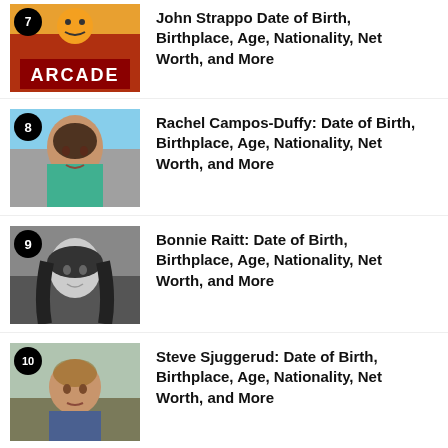John Strappo: Date of Birth, Birthplace, Age, Nationality, Net Worth, and More
Rachel Campos-Duffy: Date of Birth, Birthplace, Age, Nationality, Net Worth, and More
Bonnie Raitt: Date of Birth, Birthplace, Age, Nationality, Net Worth, and More
Steve Sjuggerud: Date of Birth, Birthplace, Age, Nationality, Net Worth, and More
Rachel Demita: Date of Birth,